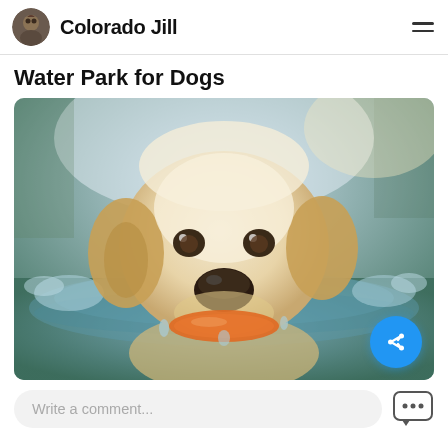Colorado Jill
Water Park for Dogs
[Figure (photo): A yellow Labrador Retriever swimming in water, holding an orange toy in its mouth. The dog's face is close-up, surrounded by rippling water with a blurred background.]
Write a comment...